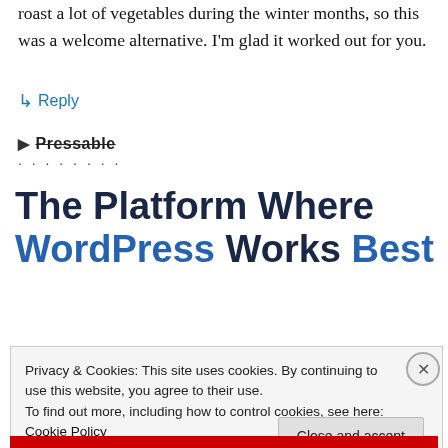roast a lot of vegetables during the winter months, so this was a welcome alternative. I'm glad it worked out for you.
↳ Reply
Pressable ........
The Platform Where WordPress Works Best
Privacy & Cookies: This site uses cookies. By continuing to use this website, you agree to their use.
To find out more, including how to control cookies, see here: Cookie Policy
Close and accept